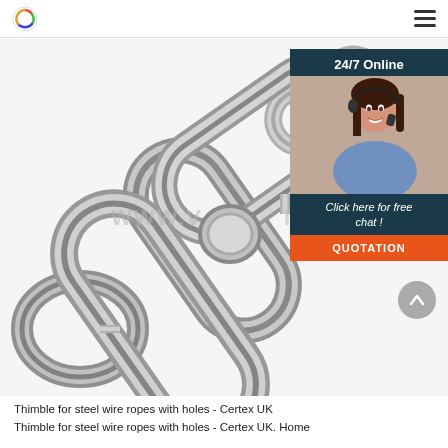Logo and navigation menu
[Figure (photo): Close-up photo of stainless steel chain links with multiple interlocked oval links against a white background. A watermark reading 'WWW.VOESTALPINE.' is overlaid. An online chat widget appears in the top right showing '24/7 Online', a customer service representative photo, 'Click here for free chat!', and an orange 'QUOTATION' button.]
Thimble for steel wire ropes with holes - Certex UK
Thimble for steel wire ropes with holes - Certex UK. Home